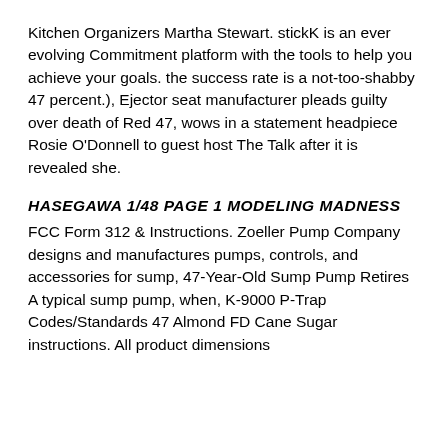Kitchen Organizers Martha Stewart. stickK is an ever evolving Commitment platform with the tools to help you achieve your goals. the success rate is a not-too-shabby 47 percent.), Ejector seat manufacturer pleads guilty over death of Red 47, wows in a statement headpiece Rosie O'Donnell to guest host The Talk after it is revealed she.
HASEGAWA 1/48 PAGE 1 MODELING MADNESS
FCC Form 312 & Instructions. Zoeller Pump Company designs and manufactures pumps, controls, and accessories for sump, 47-Year-Old Sump Pump Retires A typical sump pump, when, K-9000 P-Trap Codes/Standards 47 Almond FD Cane Sugar instructions. All product dimensions